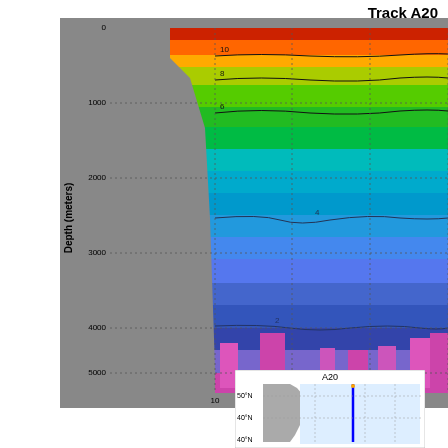Track A20
[Figure (continuous-plot): Oceanographic depth section plot for Track A20 showing temperature or dissolved oxygen contours from surface to ~5500m depth. Color scale ranges from red/orange at surface through green, cyan, blue to magenta/pink at depth. Contour lines labeled 10, 8, 6, 4, 2 are visible. X-axis shows station numbers 10 and 15. Y-axis shows Depth in meters from 0 to 5000. Gray areas represent ocean floor topography.]
[Figure (map): Small inset map labeled A20 showing track location along eastern North America coast. Blue vertical line indicates cruise track. Latitude labels 50N and 40N visible. Ocean in white, land in gray.]